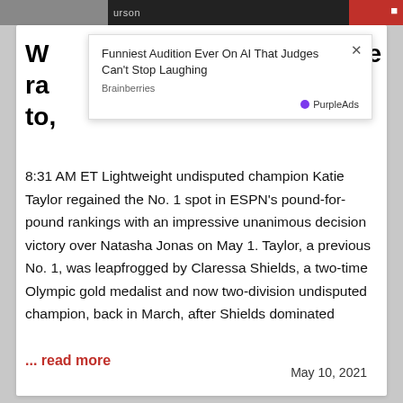[Figure (screenshot): Top image strip showing partial photo with text 'urson' visible and red bar on right]
W ra to.
[Figure (screenshot): Advertisement overlay: 'Funniest Audition Ever On AI That Judges Can't Stop Laughing' from Brainberries, sponsored by PurpleAds. Has a close (×) button.]
8:31 AM ET Lightweight undisputed champion Katie Taylor regained the No. 1 spot in ESPN's pound-for-pound rankings with an impressive unanimous decision victory over Natasha Jonas on May 1. Taylor, a previous No. 1, was leapfrogged by Claressa Shields, a two-time Olympic gold medalist and now two-division undisputed champion, back in March, after Shields dominated
... read more
May 10, 2021